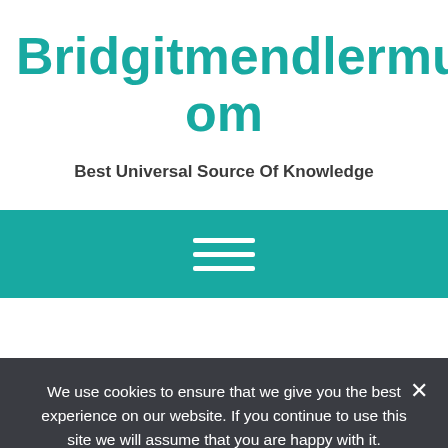Bridgitmendlermusic.Com
Best Universal Source Of Knowledge
[Figure (other): Teal navigation bar with hamburger menu icon (three horizontal white lines)]
We use cookies to ensure that we give you the best experience on our website. If you continue to use this site we will assume that you are happy with it.
Ok  Privacy policy